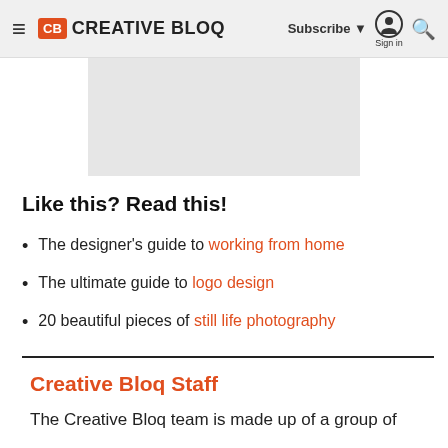CB CREATIVE BLOQ | Subscribe ▼ Sign in 🔍
[Figure (other): Gray advertisement placeholder block]
Like this? Read this!
The designer's guide to working from home
The ultimate guide to logo design
20 beautiful pieces of still life photography
Creative Bloq Staff
The Creative Bloq team is made up of a group of